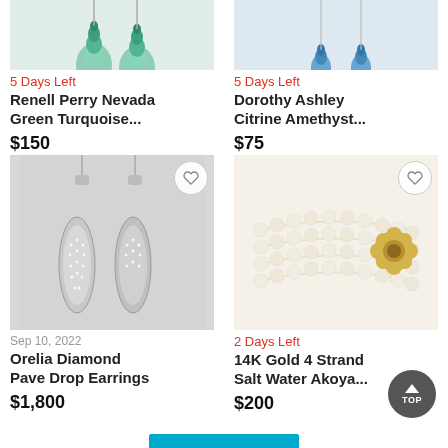[Figure (photo): Cropped top of turquoise earrings product image]
5 Days Left
Renell Perry Nevada Green Turquoise...
$150
[Figure (photo): Cropped top of blue earrings product image]
5 Days Left
Dorothy Ashley Citrine Amethyst...
$75
[Figure (photo): Photo of Orelia Diamond Pave Drop Earrings - silver dangling drop earrings with pave diamonds]
Sep 10, 2022
Orelia Diamond Pave Drop Earrings
$1,800
[Figure (photo): Photo of 14K Gold 4 Strand Salt Water Akoya pearl bracelet with gold flower clasp]
2 Days Left
14K Gold 4 Strand Salt Water Akoya...
$200